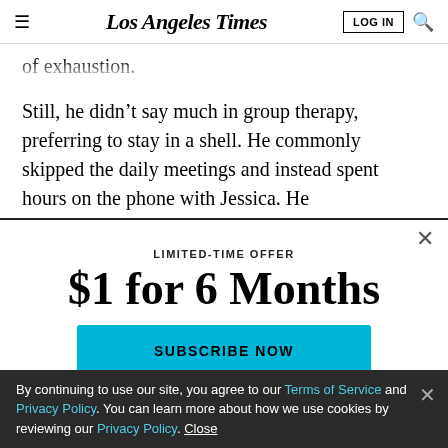Los Angeles Times | LOG IN | Search
of exhaustion.
Still, he didn’t say much in group therapy, preferring to stay in a shell. He commonly skipped the daily meetings and instead spent hours on the phone with Jessica. He
LIMITED-TIME OFFER
$1 for 6 Months
SUBSCRIBE NOW
By continuing to use our site, you agree to our Terms of Service and Privacy Policy. You can learn more about how we use cookies by reviewing our Privacy Policy. Close